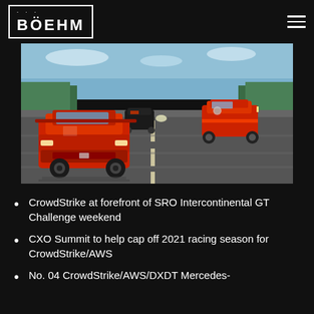BÖEHM
[Figure (photo): Racing cars on a track — a red Honda Civic Type R in the foreground, Mercedes-AMG GT3 cars behind, on a motorsport circuit with trees in the background at dusk]
CrowdStrike at forefront of SRO Intercontinental GT Challenge weekend
CXO Summit to help cap off 2021 racing season for CrowdStrike/AWS
No. 04 CrowdStrike/AWS/DXDT Mercedes-